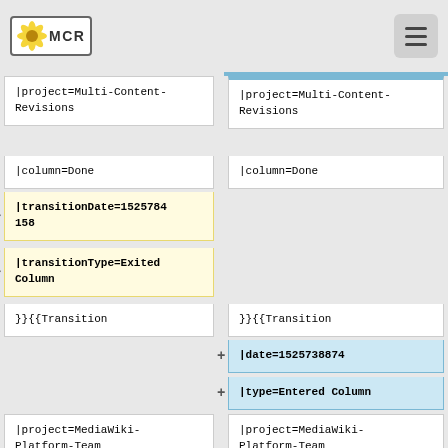[MCR] logo and menu button
|project=Multi-Content-Revisions
|column=Done
|transitionDate=1525784158
|transitionType=Exited Column
}}{{Transition
|project=Multi-Content-Revisions
|column=Done
}}{{Transition
|date=1525738874
|type=Entered Column
|project=MediaWiki-Platform-Team
|column=Watching
|project=MediaWiki-Platform-Team
|column=Watching
|transitionDate=1525738